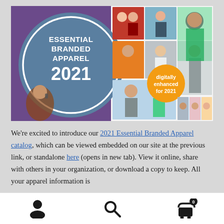[Figure (illustration): Essential Branded Apparel 2021 catalog cover banner. Left side has a teal/blue circle with white text 'ESSENTIAL BRANDED APPAREL 2021' on a purple background with a person on a phone. Center and right show a grid of photos of people wearing various branded apparel. An orange circle badge reads 'digitally enhanced for 2021'.]
We're excited to introduce our 2021 Essential Branded Apparel catalog, which can be viewed embedded on our site at the previous link, or standalone here (opens in new tab). View it online, share with others in your organization, or download a copy to keep. All your apparel information is